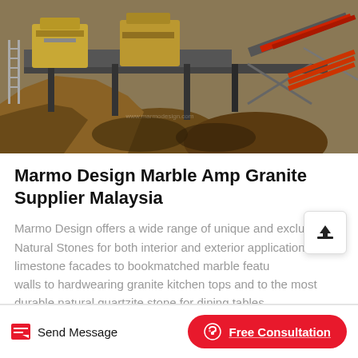[Figure (photo): Aerial view of a stone quarry with heavy industrial crushing machinery, conveyor belts, and large mounds of excavated earth and stone material.]
Marmo Design Marble Amp Granite Supplier Malaysia
Marmo Design offers a wide range of unique and exclusive Natural Stones for both interior and exterior applications from limestone facades to bookmatched marble feature walls to hardwearing granite kitchen tops and to the most durable natural quartzite stone for dining tables
Send Message | Free Consultation